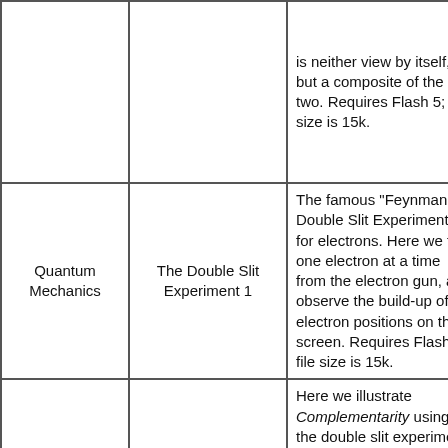| Subject | Title | Description | Link |
| --- | --- | --- | --- |
|  |  | is neither view by itself, but a composite of the two. Requires Flash 5; file size is 15k. |  |
| Quantum Mechanics | The Double Slit Experiment 1 | The famous "Feynman Double Slit Experiment" for electrons. Here we fire one electron at a time from the electron gun, and observe the build-up of electron positions on the screen. Requires Flash 5; file size is 15k. | Vie |
| Quantum Mechanics | The Double Slit Experiment 2 | Here we illustrate Complementarity using the double slit experiment. We view the path of the electron from the gun to the observing screen as a particle and as a wave. Requires Flash 5; file | Vie |